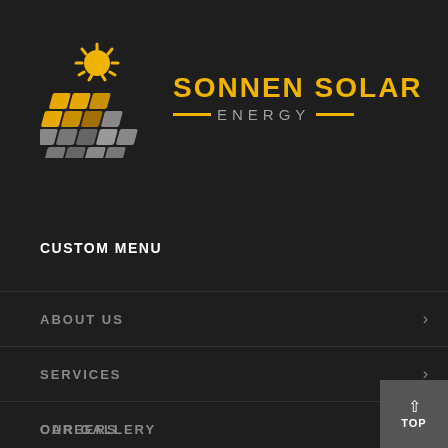[Figure (logo): Sonnen Solar Energy logo: solar panel grid with sun icon, text 'SONNEN SOLAR ENERGY' in yellow and grey]
CUSTOM MENU
ABOUT US
SERVICES
CAREERS
OUR GALLERY